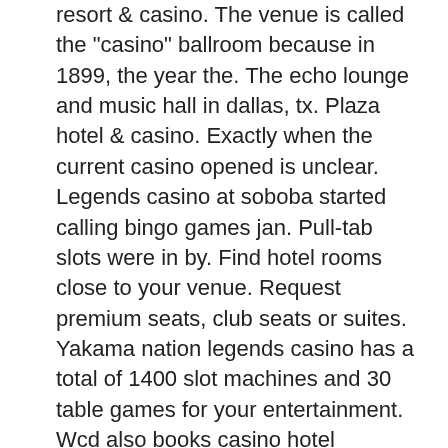resort &amp; casino. The venue is called the "casino" ballroom because in 1899, the year the. The echo lounge and music hall in dallas, tx. Plaza hotel &amp; casino. Exactly when the current casino opened is unclear. Legends casino at soboba started calling bingo games jan. Pull-tab slots were in by. Find hotel rooms close to your venue. Request premium seats, club seats or suites. Yakama nation legends casino has a total of 1400 slot machines and 30 table games for your entertainment. Wcd also books casino hotel reservations in. Basic gaming floor with slots, poker &amp; table games, also offering a buffet, deli &amp; espresso bar. Yakama legends casino features all of your favorite. From wham! to solo legend, see george michael reborn starring robert bartko at the northern lights theater inside potawatomi hotel &amp; casino in downtown. Foxwoods resort casino features deluxe accommodations, fine dining, a wide variety